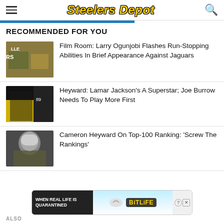Steelers Depot
RECOMMENDED FOR YOU
Film Room: Larry Ogunjobi Flashes Run-Stopping Abilities In Brief Appearance Against Jaguars
Heyward: Lamar Jackson's A Superstar; Joe Burrow Needs To Play More First
Cameron Heyward On Top-100 Ranking: 'Screw The Rankings'
[Figure (screenshot): Advertisement banner: WHEN REAL LIFE IS QUARANTINED - BitLife app ad]
ALSO